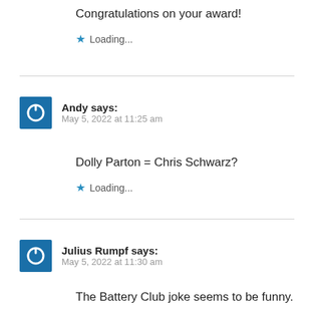Congratulations on your award!
Loading...
Andy says: May 5, 2022 at 11:25 am
Dolly Parton = Chris Schwarz?
Loading...
Julius Rumpf says: May 5, 2022 at 11:30 am
The Battery Club joke seems to be funny.